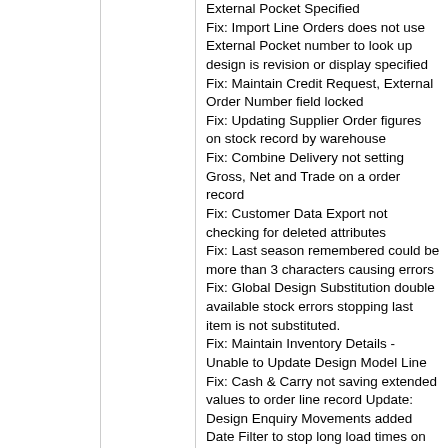External Pocket Specified
Fix: Import Line Orders does not use External Pocket number to look up design is revision or display specified
Fix: Maintain Credit Request, External Order Number field locked
Fix: Updating Supplier Order figures on stock record by warehouse
Fix: Combine Delivery not setting Gross, Net and Trade on a order record
Fix: Customer Data Export not checking for deleted attributes
Fix: Last season remembered could be more than 3 characters causing errors
Fix: Global Design Substitution double available stock errors stopping last item is not substituted.
Fix: Maintain Inventory Details - Unable to Update Design Model Line
Fix: Cash & Carry not saving extended values to order line record Update: Design Enquiry Movements added Date Filter to stop long load times on highly active products
Update: Add Master option to force all invoices to be at created at design level
Update: Update Commission Adjustment Screen to show currency
Update: Line Order Import can use the picking bin reference to look up the current design available in the picking bin
Update: Database upgrade change script messages now presented as a list, with copy to clipboard